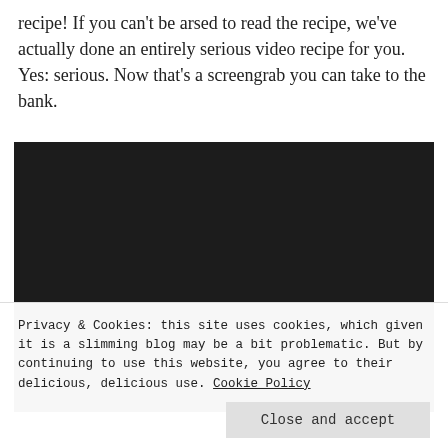recipe! If you can't be arsed to read the recipe, we've actually done an entirely serious video recipe for you. Yes: serious. Now that's a screengrab you can take to the bank.
[Figure (screenshot): A dark/black video player rectangle embedded in the page]
Privacy & Cookies: this site uses cookies, which given it is a slimming blog may be a bit problematic. But by continuing to use this website, you agree to their delicious, delicious use. Cookie Policy